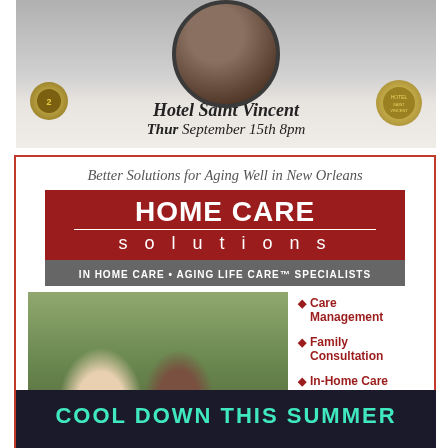[Figure (photo): Advertisement for Hotel Saint Vincent event showing a musician, with text 'Hotel Saint Vincent / Thur September 15th 8pm']
[Figure (infographic): Advertisement for Home Care Solutions in New Orleans. Tagline: Better Solutions for Aging Well in New Orleans. Services: Care Management, Family Consultation, In-Home Care, Alzheimer's & Parkinson's Care. Address: 3421 N. Causeway Blvd., Suite 502, Metairie, LA 70002. Phone: 504-828-0900. Website: www.HomeCareNewOrleans.com]
[Figure (photo): Bottom advertisement with dark background and teal text reading 'COOL DOWN THIS SUMMER']